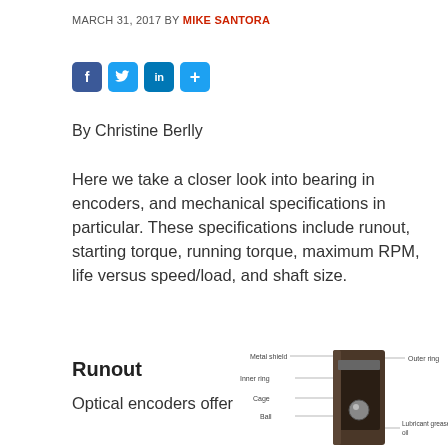MARCH 31, 2017 BY MIKE SANTORA
[Figure (infographic): Social media share buttons: Facebook (f), Twitter (bird), LinkedIn (in), and a plus (+) share button]
By Christine Berlly
Here we take a closer look into bearing in encoders, and mechanical specifications in particular. These specifications include runout, starting torque, running torque, maximum RPM, life versus speed/load, and shaft size.
Runout
[Figure (engineering-diagram): Cross-section diagram of a ball bearing showing labeled components: Metal shield, Outer ring, Inner ring, Cage, Ball, and Lubricant grease or oil]
Optical encoders offer